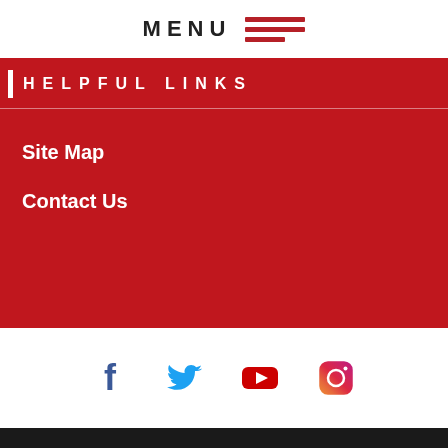MENU
HELPFUL LINKS
Site Map
Contact Us
[Figure (other): Social media icons: Facebook, Twitter, YouTube, Instagram]
[Figure (logo): Blackboard logo]
Questions or Feedback? • Terms of Use
Blackboard Web Community Manager Privacy Policy (Updated)
Copyright © 2002-2022 Blackboard, Inc. All rights reserved.